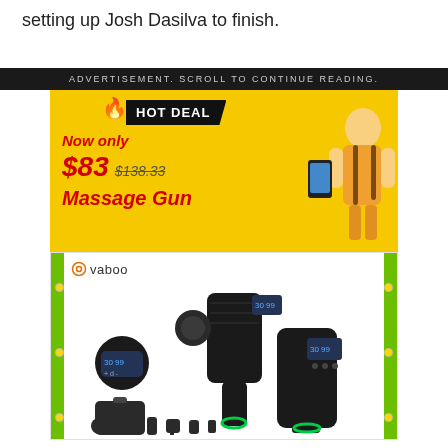setting up Josh Dasilva to finish.
ADVERTISEMENT. SCROLL TO CONTINUE READING.
[Figure (photo): Advertisement for Vaboo Massage Gun showing a Hot Deal price of $83 (originally $138.33). The ad features a yellow background with a woman holding a phone, the product displayed with multiple attachments and carrying case, and green side borders.]